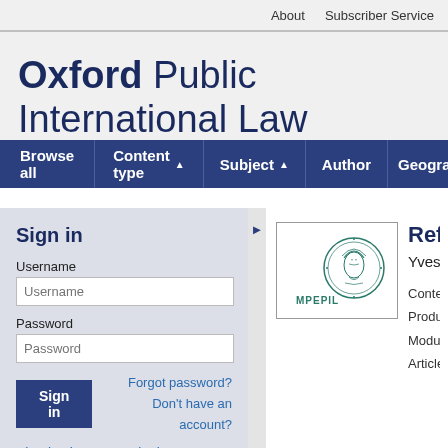About   Subscriber Service
Oxford Public International Law
Browse all   Content type ▲   Subject ▲   Author   Geogra
Sign in
Username
Password
Sign in   Forgot password?   Don't have an account?
Sign in via your Institution
[Figure (logo): MPEPIL logo with Minerva head medallion]
Ref
Yves
Conte
Produ
Modu
Article